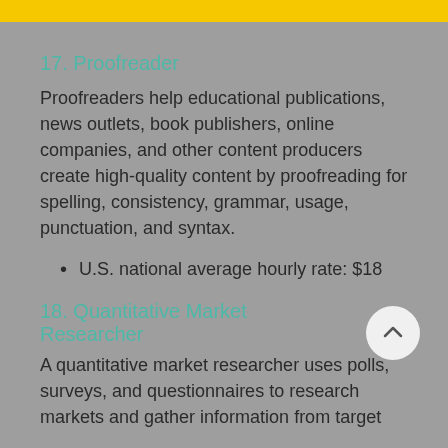17. Proofreader
Proofreaders help educational publications, news outlets, book publishers, online companies, and other content producers create high-quality content by proofreading for spelling, consistency, grammar, usage, punctuation, and syntax.
U.S. national average hourly rate: $18
18. Quantitative Market Researcher
A quantitative market researcher uses polls, surveys, and questionnaires to research markets and gather information from target